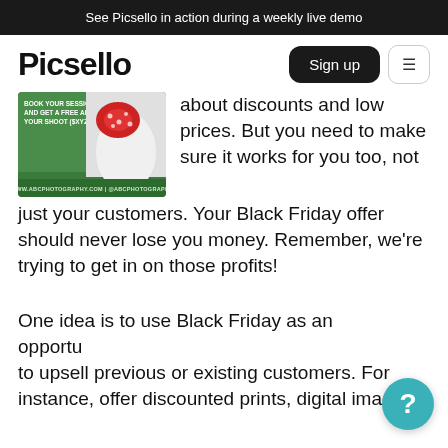See Picsello in action during a weekly live demo
Picsello
[Figure (photo): Photography promotional flyer showing a red bow on a white shirt, with green header text 'BOOK YOUR SESSION TODAY AND GET A FREE ALBUM OF YOUR SHOOT ($XYZ VALUE)' and a green footer with website and social handle]
about discounts and low prices. But you need to make sure it works for you too, not just your customers. Your Black Friday offer should never lose you money. Remember, we're trying to get in on those profits!
One idea is to use Black Friday as an opportunity to upsell previous or existing customers. For instance, offer discounted prints, digital images